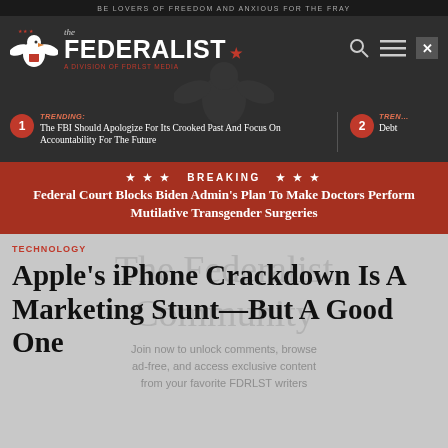BE LOVERS OF FREEDOM AND ANXIOUS FOR THE FRAY
[Figure (logo): The Federalist logo with eagle emblem and tagline 'A Division of FDRLST Media']
TRENDING: The FBI Should Apologize For Its Crooked Past And Focus On Accountability For The Future
2 TRENDING: Debt
*** BREAKING *** Federal Court Blocks Biden Admin's Plan To Make Doctors Perform Mutilative Transgender Surgeries
The Federalist Community
Join now to unlock comments, browse ad-free, and access exclusive content from your favorite FDRLST writers
TECHNOLOGY
Apple's iPhone Crackdown Is A Marketing Stunt—But A Good One